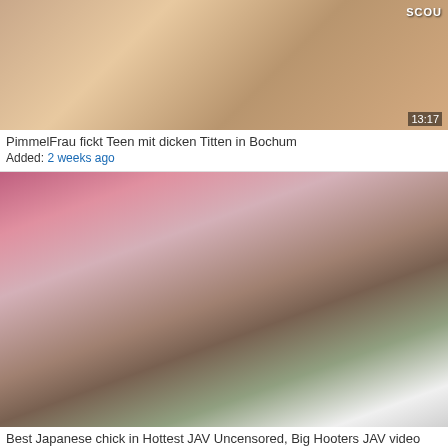[Figure (photo): Video thumbnail showing people, with SCOUT watermark in upper right corner]
PimmelFrau fickt Teen mit dicken Titten in Bochum
Added: 2 weeks ago
[Figure (photo): Video thumbnail showing people outdoors]
Best Japanese chick in Hottest JAV Uncensored, Big Hooters JAV video
Added: 2 weeks ago